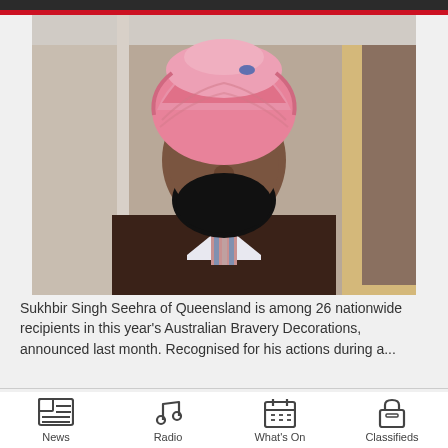[Figure (photo): Portrait photo of Sukhbir Singh Seehra, a Sikh man wearing a pink turban and dark brown suit with a striped tie, standing in a hallway.]
Sukhbir Singh Seehra of Queensland is among 26 nationwide recipients in this year's Australian Bravery Decorations, announced last month. Recognised for his actions during a...
News | Radio | What's On | Classifieds